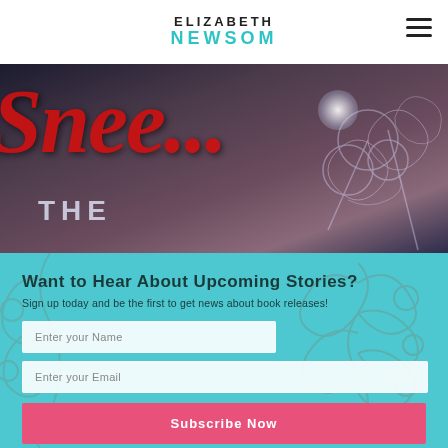ELIZABETH NEWSOM
[Figure (illustration): Book cover image with large red italic cursive text reading 'Snee...' and 'THE' below, over a dark atmospheric background with a figure wearing floral lace decoration and a glowing orb of light]
Want to Hear About Upcoming Stories?
Sign up today and be the first to get news about book releases!
Enter your Name
Enter your Email
Subscribe Now